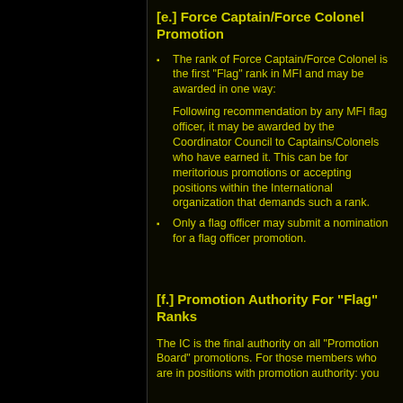[e.] Force Captain/Force Colonel Promotion
The rank of Force Captain/Force Colonel is the first "Flag" rank in MFI and may be awarded in one way:
Following recommendation by any MFI flag officer, it may be awarded by the Coordinator Council to Captains/Colonels who have earned it. This can be for meritorious promotions or accepting positions within the International organization that demands such a rank.
Only a flag officer may submit a nomination for a flag officer promotion.
[f.] Promotion Authority For "Flag" Ranks
The IC is the final authority on all "Promotion Board" promotions. For those members who are in positions with promotion authority: you